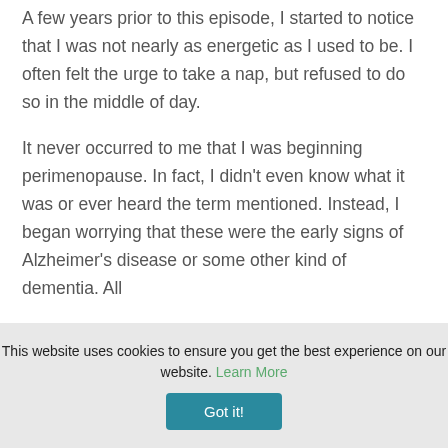A few years prior to this episode, I started to notice that I was not nearly as energetic as I used to be. I often felt the urge to take a nap, but refused to do so in the middle of day.

It never occurred to me that I was beginning perimenopause. In fact, I didn't even know what it was or ever heard the term mentioned. Instead, I began worrying that these were the early signs of Alzheimer's disease or some other kind of dementia. All
This website uses cookies to ensure you get the best experience on our website. Learn More
Got it!